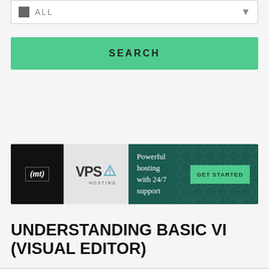[Figure (screenshot): Search bar area with ALL text input and dropdown arrow indicator, white background with border]
SEARCH
[Figure (other): MediaTemple VPS Hosting advertisement banner. Left black panel with (mt) logo, center gray panel with VPS Hosting text and triangle logo, right dark teal panel with text 'Powerful hosting with 24/7 support' and green GET STARTED button, with geometric pattern overlay on right side.]
UNDERSTANDING BASIC VI (VISUAL EDITOR)